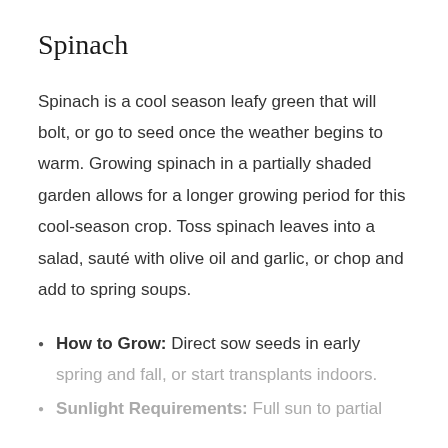Spinach
Spinach is a cool season leafy green that will bolt, or go to seed once the weather begins to warm. Growing spinach in a partially shaded garden allows for a longer growing period for this cool-season crop. Toss spinach leaves into a salad, sauté with olive oil and garlic, or chop and add to spring soups.
How to Grow: Direct sow seeds in early spring and fall, or start transplants indoors.
Sunlight Requirements: Full sun to partial